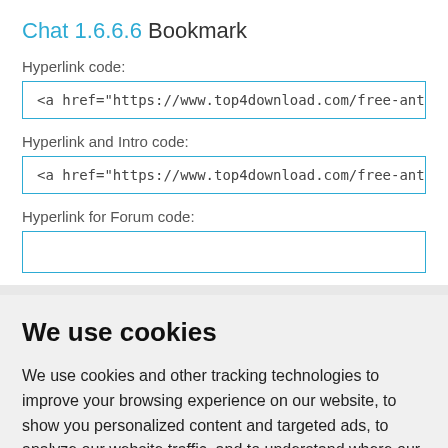Chat 1.6.6.6 Bookmark
Hyperlink code:
<a href="https://www.top4download.com/free-antu
Hyperlink and Intro code:
<a href="https://www.top4download.com/free-antu
Hyperlink for Forum code:
We use cookies
We use cookies and other tracking technologies to improve your browsing experience on our website, to show you personalized content and targeted ads, to analyze our website traffic, and to understand where our visitors are coming from.
I agree | Change my preferences